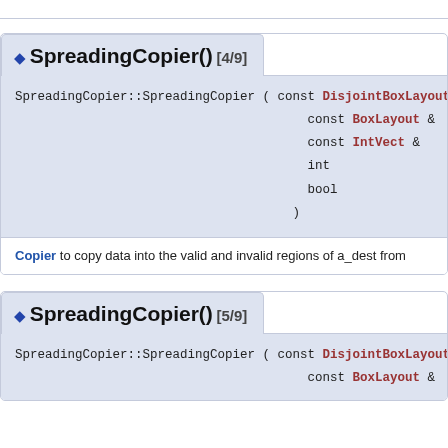◆ SpreadingCopier() [4/9]
SpreadingCopier::SpreadingCopier ( const DisjointBoxLayout &  a_
                                   const BoxLayout &             a_
                                   const IntVect &               a_
                                   int                           a_
                                   bool                          a_
                                 )
Copier to copy data into the valid and invalid regions of a_dest from
◆ SpreadingCopier() [5/9]
SpreadingCopier::SpreadingCopier ( const DisjointBoxLayout &  a_
                                   const BoxLayout &             a_